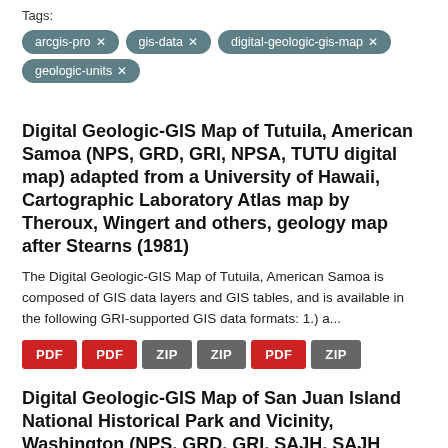Tags:
arcgis-pro ×
gis-data ×
digital-geologic-gis-map ×
geologic-units ×
Digital Geologic-GIS Map of Tutuila, American Samoa (NPS, GRD, GRI, NPSA, TUTU digital map) adapted from a University of Hawaii, Cartographic Laboratory Atlas map by Theroux, Wingert and others, geology map after Stearns (1981)
The Digital Geologic-GIS Map of Tutuila, American Samoa is composed of GIS data layers and GIS tables, and is available in the following GRI-supported GIS data formats: 1.) a...
PDF PDF ZIP ZIP PDF ZIP
Digital Geologic-GIS Map of San Juan Island National Historical Park and Vicinity, Washington (NPS, GRD, GRI, SAJH, SAJH digital map) adapted from Washington Division